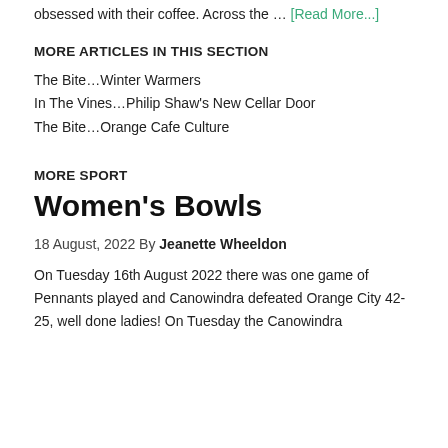obsessed with their coffee. Across the … [Read More...]
MORE ARTICLES IN THIS SECTION
The Bite…Winter Warmers
In The Vines…Philip Shaw's New Cellar Door
The Bite…Orange Cafe Culture
MORE SPORT
Women's Bowls
18 August, 2022 By Jeanette Wheeldon
On Tuesday 16th August 2022 there was one game of Pennants played and Canowindra defeated Orange City 42-25, well done ladies! On Tuesday the Canowindra